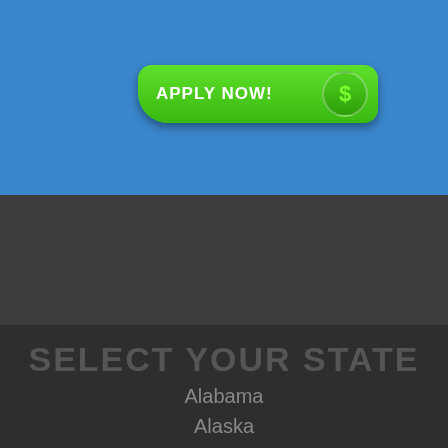[Figure (screenshot): Green 'APPLY NOW!' button with dollar sign circle icon on blue background]
SELECT YOUR STATE
Alabama
Alaska